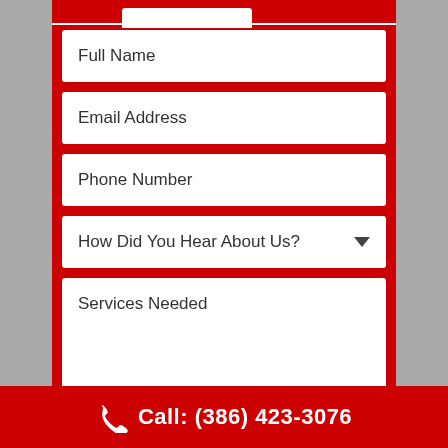Full Name
Email Address
Phone Number
How Did You Hear About Us?
Services Needed
Call: (386) 423-3076